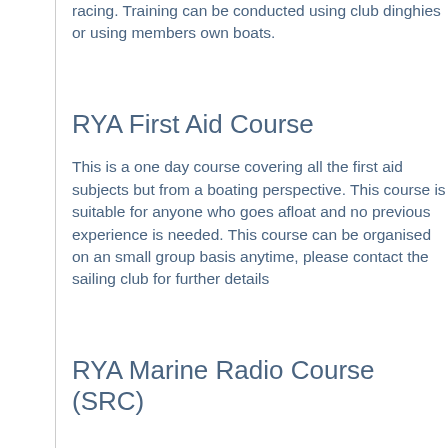racing. Training can be conducted using club dinghies or using members own boats.
RYA First Aid Course
This is a one day course covering all the first aid subjects but from a boating perspective. This course is suitable for anyone who goes afloat and no previous experience is needed. This course can be organised on an small group basis anytime, please contact the sailing club for further details
RYA Marine Radio Course (SRC)